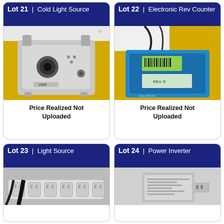[Figure (photo): Lot 21 card: Cold Light Source device (VWR brand, silver/white box with circular lens port and dials) on yellow surface]
Price Realized Not Uploaded
[Figure (photo): Lot 22 card: Electronic Rev Counter (blue box with digital display and barcode label on yellow surface)]
Price Realized Not Uploaded
[Figure (photo): Lot 23 card: Light Source device (partial view showing cables and power outlet strip)]
[Figure (photo): Lot 24 card: Power Inverter device (partial view)]